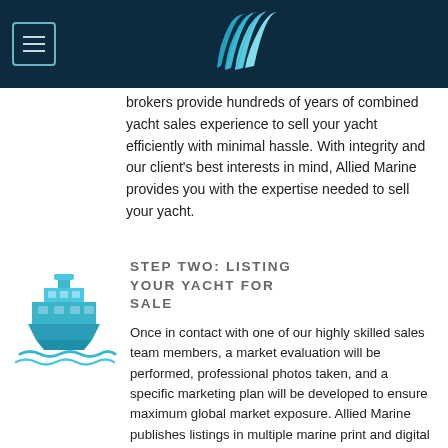[Figure (logo): Allied Marine logo with wave/water mark icon in teal/white on dark navy background]
brokers provide hundreds of years of combined yacht sales experience to sell your yacht efficiently with minimal hassle. With integrity and our client's best interests in mind, Allied Marine provides you with the expertise needed to sell your yacht.
[Figure (illustration): Blue cruise ship / yacht icon illustration]
STEP TWO: LISTING YOUR YACHT FOR SALE
Once in contact with one of our highly skilled sales team members, a market evaluation will be performed, professional photos taken, and a specific marketing plan will be developed to ensure maximum global market exposure. Allied Marine publishes listings in multiple marine print and digital publications, subscribes to the world editions of multiple listing